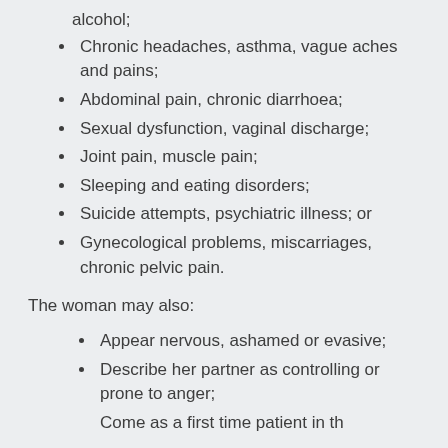alcohol;
Chronic headaches, asthma, vague aches and pains;
Abdominal pain, chronic diarrhoea;
Sexual dysfunction, vaginal discharge;
Joint pain, muscle pain;
Sleeping and eating disorders;
Suicide attempts, psychiatric illness; or
Gynecological problems, miscarriages, chronic pelvic pain.
The woman may also:
Appear nervous, ashamed or evasive;
Describe her partner as controlling or prone to anger;
Come as a first time patient in the...